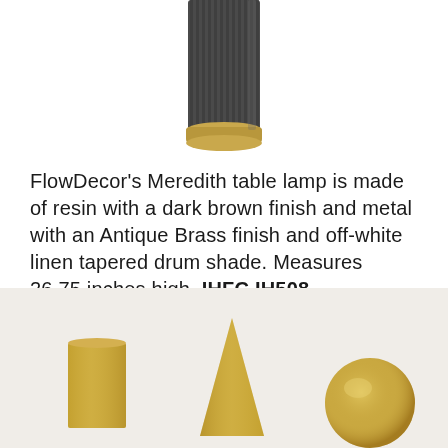[Figure (photo): Close-up photo of a table lamp base made of resin with dark brown ribbed finish and a metal base with Antique Brass finish, partially cropped at top of image.]
FlowDecor’s Meredith table lamp is made of resin with a dark brown finish and metal with an Antique Brass finish and off-white linen tapered drum shade. Measures 26.75 inches high. IHFC IH508 www.flowdecor.com
[Figure (photo): Photo showing three decorative brass objects on a light background: a rectangular brass vase/block on the left, a brass pyramid/cone shape in the center, and a polished brass sphere on the right.]